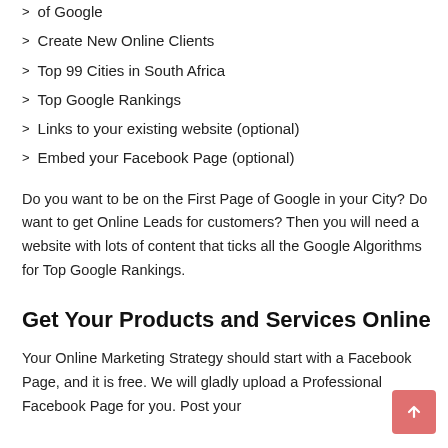of Google
Create New Online Clients
Top 99 Cities in South Africa
Top Google Rankings
Links to your existing website (optional)
Embed your Facebook Page (optional)
Do you want to be on the First Page of Google in your City? Do want to get Online Leads for customers? Then you will need a website with lots of content that ticks all the Google Algorithms for Top Google Rankings.
Get Your Products and Services Online
Your Online Marketing Strategy should start with a Facebook Page, and it is free. We will gladly upload a Professional Facebook Page for you. Post your